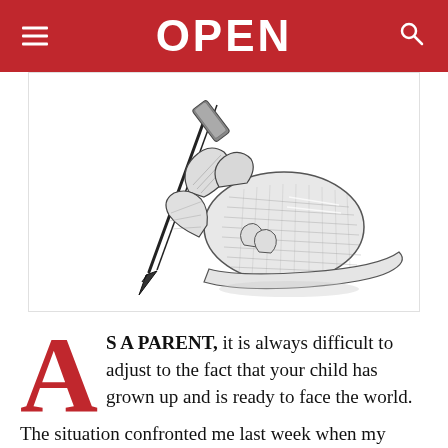OPEN
[Figure (illustration): Engraving-style black and white illustration of a hand holding a dip pen or quill, writing, depicted in detailed crosshatch style.]
AS A PARENT, it is always difficult to adjust to the fact that your child has grown up and is ready to face the world. The situation confronted me last week when my